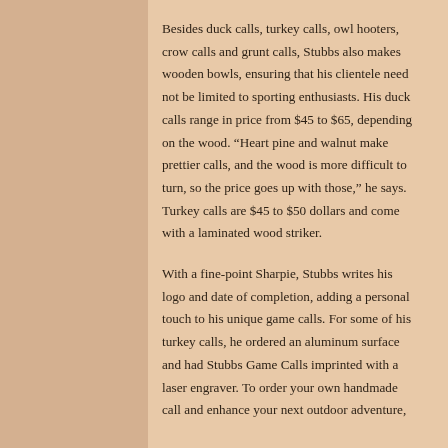Besides duck calls, turkey calls, owl hooters, crow calls and grunt calls, Stubbs also makes wooden bowls, ensuring that his clientele need not be limited to sporting enthusiasts. His duck calls range in price from $45 to $65, depending on the wood. “Heart pine and walnut make prettier calls, and the wood is more difficult to turn, so the price goes up with those,” he says. Turkey calls are $45 to $50 dollars and come with a laminated wood striker.
With a fine-point Sharpie, Stubbs writes his logo and date of completion, adding a personal touch to his unique game calls. For some of his turkey calls, he ordered an aluminum surface and had Stubbs Game Calls imprinted with a laser engraver. To order your own handmade call and enhance your next outdoor adventure,